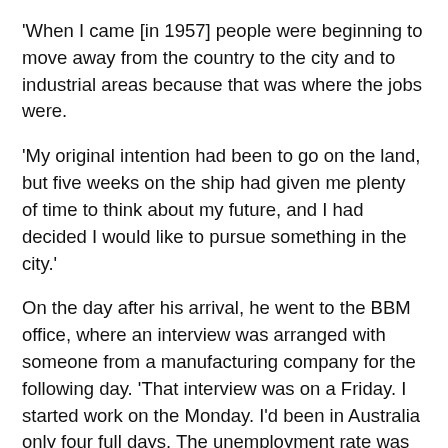'When I came [in 1957] people were beginning to move away from the country to the city and to industrial areas because that was where the jobs were.
'My original intention had been to go on the land, but five weeks on the ship had given me plenty of time to think about my future, and I had decided I would like to pursue something in the city.'
On the day after his arrival, he went to the BBM office, where an interview was arranged with someone from a manufacturing company for the following day. 'That interview was on a Friday. I started work on the Monday. I'd been in Australia only four full days. The unemployment rate was about two per cent at that time.'
The 'something in the city' was not very grand. 'I was assistant to the cost clerk, a very mundane job. First